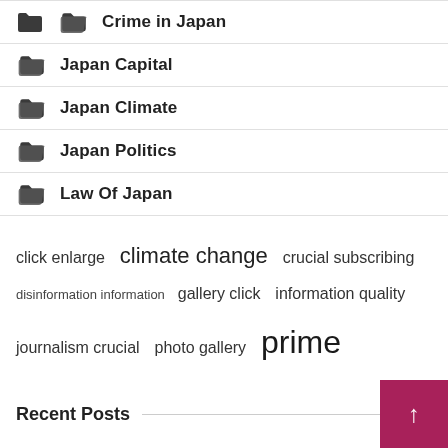Crime in Japan
Japan Capital
Japan Climate
Japan Politics
Law Of Japan
click enlarge  climate change  crucial subscribing  disinformation information  gallery click  information quality  journalism crucial  photo gallery  prime minister  quality journalism  story subscribe  subscribe photo  subscribing story  time disinformation  united states
Recent Posts